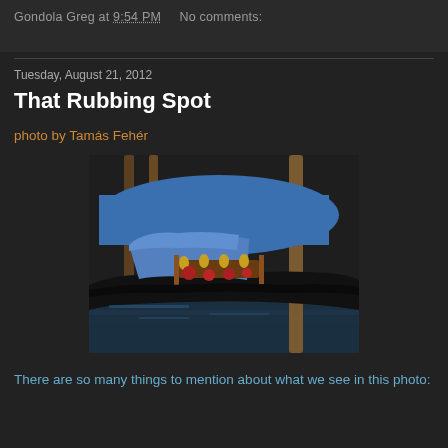Gondola Greg at 9:54 PM   No comments:
Tuesday, August 21, 2012
That Rubbing Spot
photo by Tamás Fehér
[Figure (photo): A close-up photograph of gondolas moored in Venice. The boats have blue fabric covers, ornate wooden decorations with gold details, red pompom ornaments, and black hulls. A wooden mooring pole is visible in the background and foreground. The water below reflects the boats.]
There are so many things to mention about what we see in this photo: